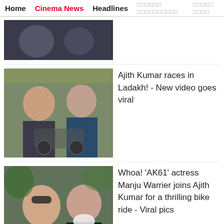Home | Cinema News | Headlines | [Tamil text] | [Tamil text]
[Figure (photo): Partially visible photo of two people, dark background]
Ajith Kumar races in Ladakh! - New video goes viral
[Figure (photo): Photo of a woman and an older man with white beard near a motorcycle outdoors in Ladakh]
Whoa! 'AK61' actress Manju Warrier joins Ajith Kumar for a thrilling bike ride - Viral pics
[Figure (photo): Photo of a woman with sunglasses and an older man with white beard]
REVIEW! Simbu-GV, ARR combo go intense and raw in 'Vendhu
[Figure (photo): Partial photo of a movie scene, dark red tones]